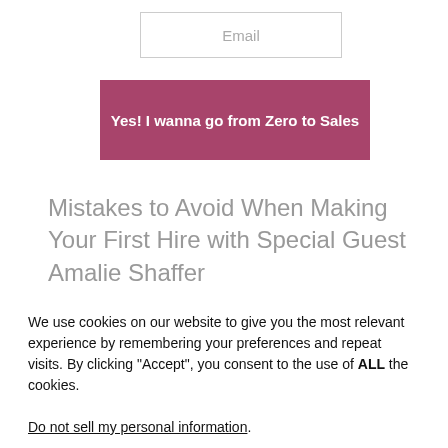Email
Yes! I wanna go from Zero to Sales
Mistakes to Avoid When Making Your First Hire with Special Guest Amalie Shaffer
We use cookies on our website to give you the most relevant experience by remembering your preferences and repeat visits. By clicking “Accept”, you consent to the use of ALL the cookies.
Do not sell my personal information.
Cookie Settings
Accept